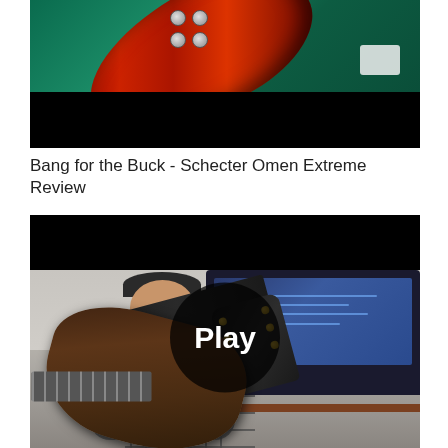[Figure (screenshot): Video thumbnail showing a red electric guitar (Schecter Omen Extreme) held by a person wearing green, with black letterbox bars top and bottom and a small white object in the upper right]
Bang for the Buck - Schecter Omen Extreme Review
[Figure (screenshot): Video thumbnail with play button overlay showing a young man in a plaid shirt playing a dark electric guitar in a home studio setting with computer monitors visible in the background. A circular Play button is overlaid in the center.]